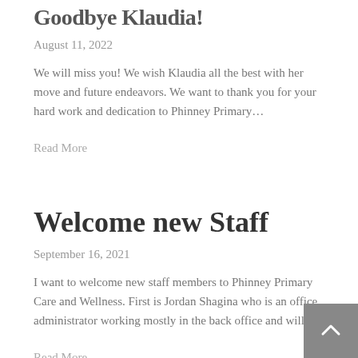Goodbye Klaudia!
August 11, 2022
We will miss you! We wish Klaudia all the best with her move and future endeavors. We want to thank you for your hard work and dedication to Phinney Primary…
Read More
Welcome new Staff
September 16, 2021
I want to welcome new staff members to Phinney Primary Care and Wellness. First is Jordan Shagina who is an office administrator working mostly in the back office and will…
Read More